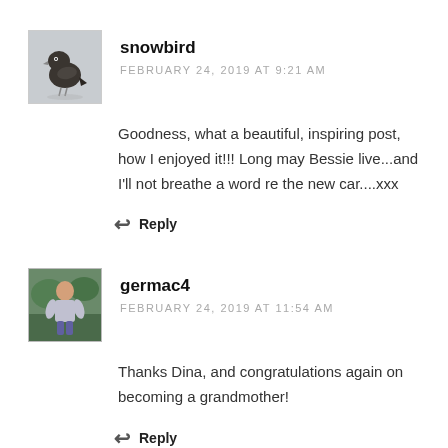[Figure (photo): Avatar thumbnail of a small dark bird (snowbird) on a light grey background]
snowbird
FEBRUARY 24, 2019 AT 9:21 AM
Goodness, what a beautiful, inspiring post, how I enjoyed it!!! Long may Bessie live...and I'll not breathe a word re the new car....xxx
Reply
[Figure (photo): Avatar thumbnail showing a person in a garden/outdoor setting]
germac4
FEBRUARY 24, 2019 AT 11:54 AM
Thanks Dina, and congratulations again on becoming a grandmother!
Reply